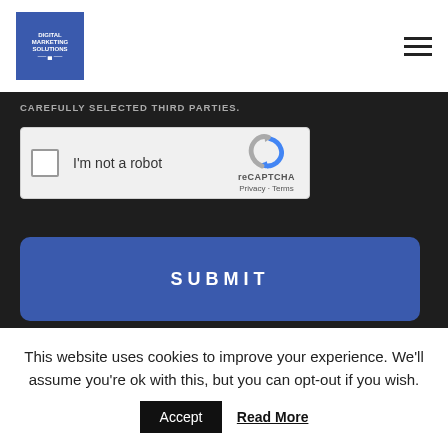Digital Marketing Solutions logo and hamburger menu
CAREFULLY SELECTED THIRD PARTIES.
[Figure (screenshot): reCAPTCHA widget with checkbox labeled 'I'm not a robot', reCAPTCHA logo, Privacy and Terms links]
[Figure (screenshot): SUBMIT button, blue rounded rectangle with white bold uppercase text 'SUBMIT']
This website uses cookies to improve your experience. We'll assume you're ok with this, but you can opt-out if you wish.
Accept  Read More